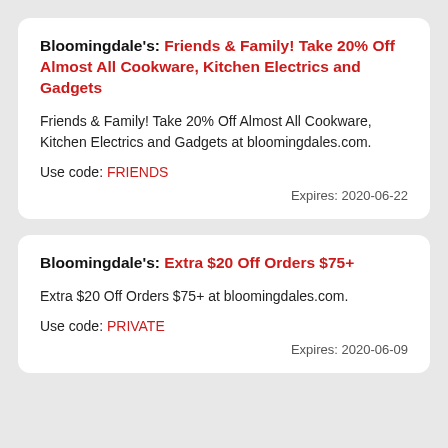Bloomingdale's: Friends & Family! Take 20% Off Almost All Cookware, Kitchen Electrics and Gadgets
Friends & Family! Take 20% Off Almost All Cookware, Kitchen Electrics and Gadgets at bloomingdales.com.
Use code: FRIENDS
Expires: 2020-06-22
Bloomingdale's: Extra $20 Off Orders $75+
Extra $20 Off Orders $75+ at bloomingdales.com.
Use code: PRIVATE
Expires: 2020-06-09